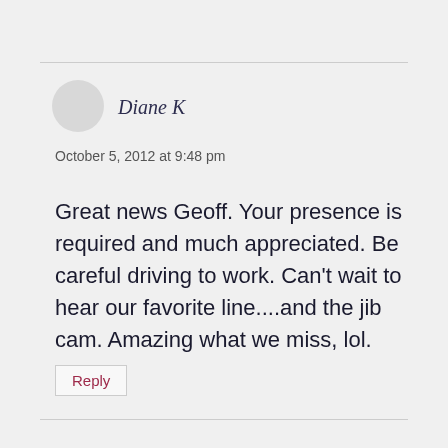Diane K
October 5, 2012 at 9:48 pm
Great news Geoff. Your presence is required and much appreciated. Be careful driving to work. Can't wait to hear our favorite line....and the jib cam. Amazing what we miss, lol.
Reply